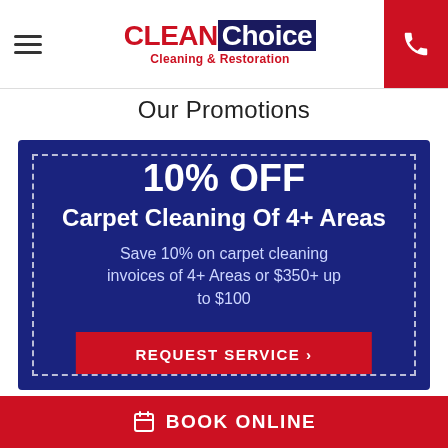CLEAN Choice Cleaning & Restoration
Our Promotions
[Figure (infographic): Coupon for 10% OFF Carpet Cleaning Of 4+ Areas. Save 10% on carpet cleaning invoices of 4+ Areas or $350+ up to $100. REQUEST SERVICE button.]
BOOK ONLINE